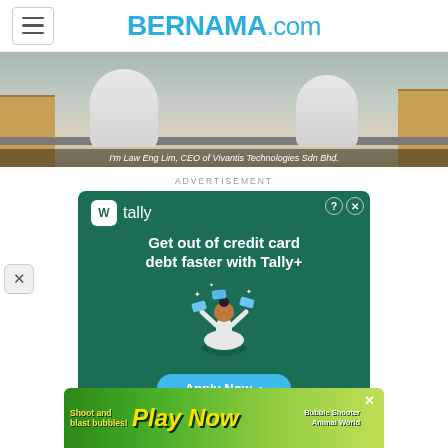BERNAMA.com
[Figure (screenshot): Screenshot of a lab video still with two people in white lab coats. Caption reads: I'm Law Eng Lim, CEO of Vivantis Technologies Sdn Bhd.]
I'm Law Eng Lim, CEO of Vivantis Technologies Sdn Bhd.
ADVERTISEMENT
[Figure (screenshot): Tally advertisement on green background: 'Get out of credit card debt faster with Tally+' with Apply Now button]
[Figure (screenshot): Bottom banner ad: Shoot and blast bubbles! Play Now - Bubble Shooter Animal World]